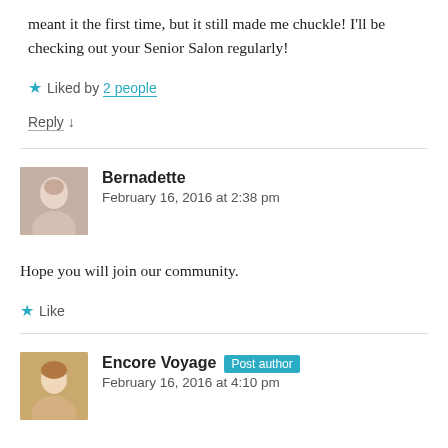meant it the first time, but it still made me chuckle! I'll be checking out your Senior Salon regularly!
★ Liked by 2 people
Reply ↓
Bernadette
February 16, 2016 at 2:38 pm
Hope you will join our community.
★ Like
Encore Voyage [Post author]
February 16, 2016 at 4:10 pm